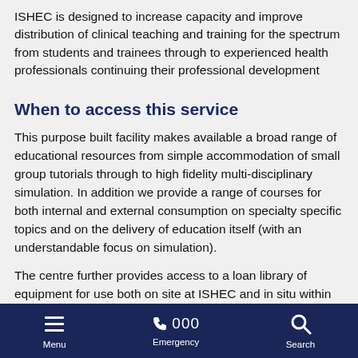ISHEC is designed to increase capacity and improve distribution of clinical teaching and training for the spectrum from students and trainees through to experienced health professionals continuing their professional development
When to access this service
This purpose built facility makes available a broad range of educational resources from simple accommodation of small group tutorials through to high fidelity multi-disciplinary simulation. In addition we provide a range of courses for both internal and external consumption on specialty specific topics and on the delivery of education itself (with an understandable focus on simulation).
The centre further provides access to a loan library of equipment for use both on site at ISHEC and in situ within other clinical
Menu   000 Emergency   Search